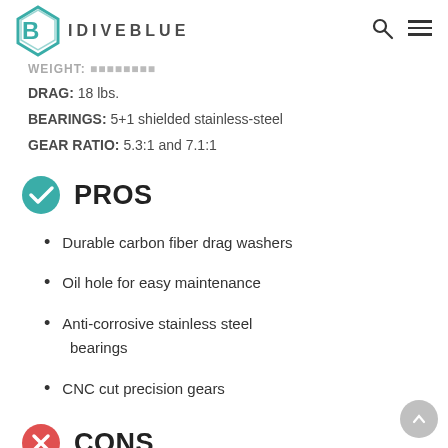IDIVEBLUE
WEIGHT: [partially visible]
DRAG: 18 lbs.
BEARINGS: 5+1 shielded stainless-steel
GEAR RATIO: 5.3:1 and 7.1:1
PROS
Durable carbon fiber drag washers
Oil hole for easy maintenance
Anti-corrosive stainless steel bearings
CNC cut precision gears
CONS